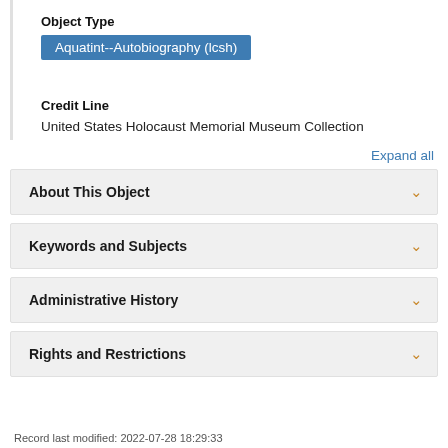Object Type
Aquatint--Autobiography (lcsh)
Credit Line
United States Holocaust Memorial Museum Collection
Expand all
About This Object
Keywords and Subjects
Administrative History
Rights and Restrictions
Record last modified: 2022-07-28 18:29:33